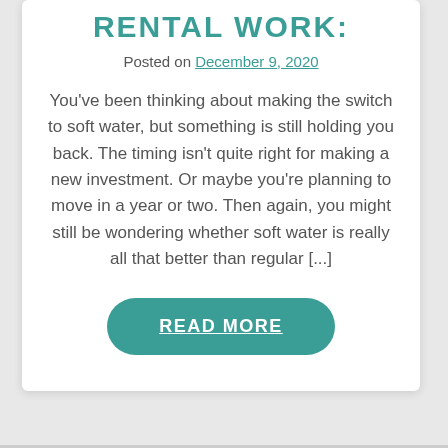RENTAL WORK:
Posted on December 9, 2020
You've been thinking about making the switch to soft water, but something is still holding you back. The timing isn't quite right for making a new investment. Or maybe you're planning to move in a year or two. Then again, you might still be wondering whether soft water is really all that better than regular [...]
READ MORE